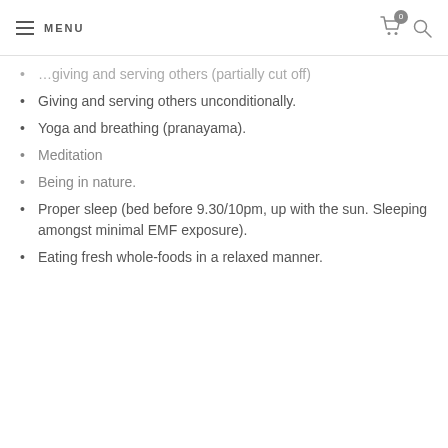MENU
Giving and serving others unconditionally.
Yoga and breathing (pranayama).
Meditation
Being in nature.
Proper sleep (bed before 9.30/10pm, up with the sun. Sleeping amongst minimal EMF exposure).
Eating fresh whole-foods in a relaxed manner.